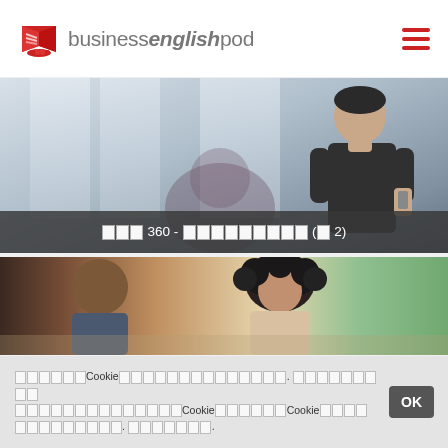businessenglishpod
[Figure (photo): Two people in a business setting near a window; one standing man in black t-shirt, one person with afro partially visible. Overlay bar with text in East Asian characters: 360 - (part 2)]
[Figure (photo): Two people in a business conversation, close-up shot with blurred background]
Cookie [unrenderable text]. Cookie Cookie [unrenderable text]. [link: unrenderable text].